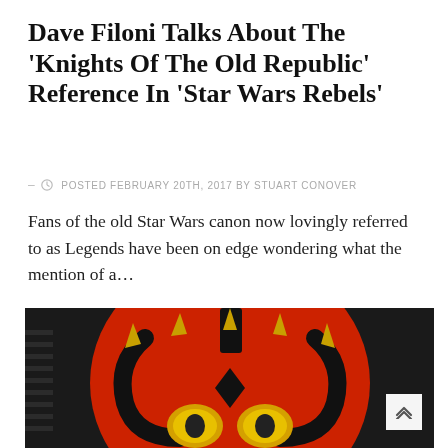Dave Filoni Talks About The 'Knights Of The Old Republic' Reference In 'Star Wars Rebels'
- POSTED FEBRUARY 20TH, 2017 BY STUART CONOVER
Fans of the old Star Wars canon now lovingly referred to as Legends have been on edge wondering what the mention of a...
[Figure (photo): Close-up image of a stylized animated/Funko Pop-style Darth Maul figure with red and black face, yellow horns, and yellow glowing eyes against a dark background.]